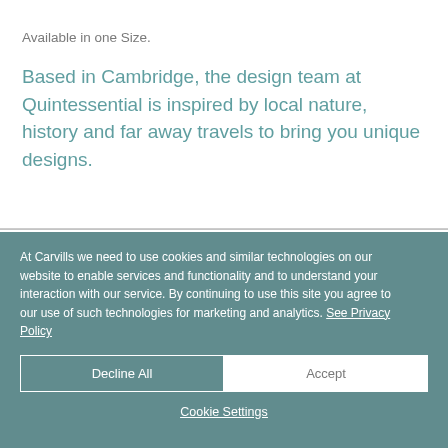Available in one Size.
Based in Cambridge, the design team at Quintessential is inspired by local nature, history and far away travels to bring you unique designs.
At Carvills we need to use cookies and similar technologies on our website to enable services and functionality and to understand your interaction with our service. By continuing to use this site you agree to our use of such technologies for marketing and analytics. See Privacy Policy
Decline All
Accept
Cookie Settings